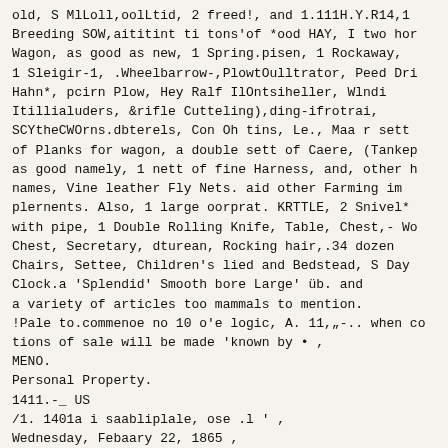old, S MlLoll,oolLtid, 2 freed!, and 1.111H.Y.R14,1
Breeding SOW,aititint ti tons'of *ood HAY, I two hor
Wagon, as good as new, 1 Spring.pisen, 1 Rockaway,
1 Sleigir-1, .Wheelbarrow-,PlowtOulltrator, Peed Dri
Hahn*, pcirn Plow, Hey Ralf IlOntsiheller, Wlndi
Itillialuders, &rifle Cutteling),ding-ifrotrai,
SCYtheCWOrns.dbterels, Con Oh tins, Le., Maa r sett
of Planks for wagon, a double sett of Caere, (Tankep
as good namely, 1 nett of fine Harness, and, other h
names, Vine leather Fly Nets. aid other Farming im
plernents. Also, 1 large oorprat. KRTTLE, 2 Snivel*
with pipe, 1 Double Rolling Knife, Table, Chest,- Wo
Chest, Secretary, dturean, Rocking hair,.34 dozen
Chairs, Settee, Children's lied and Bedstead, S Day
Clock.a 'Splendid' Smooth bore Large' üb. and
a variety of articles too mammals to mention.
!Pale to.commenoe no 10 o'e logic, A. 11,„-.. when co
tions of sale will be made 'known by • ,
MENO.
Personal Property.
1411.-_ US
/1. 1401a i saabliplale, ose .l ' ,
Wednesday, Febaary 22, 1865 ,
On the promisee of the suliscrlber in Re fi t', lian
inhiDonon the Man Condo bili Ohtittle of